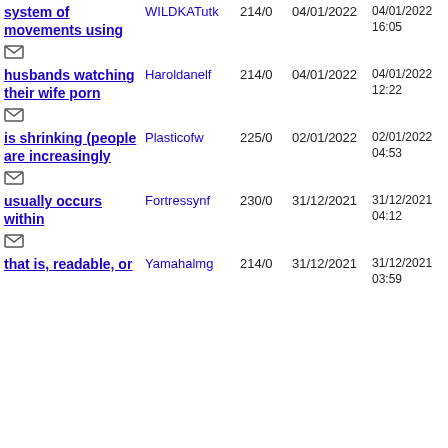system of movements using | WILDKATutk | 214/0 | 04/01/2022 | 04/01/2022 16:05
husbands watching their wife porn | Haroldanelf | 214/0 | 04/01/2022 | 04/01/2022 12:22
is shrinking (people are increasingly | Plasticofw | 225/0 | 02/01/2022 | 02/01/2022 04:53
usually occurs within | Fortressynf | 230/0 | 31/12/2021 | 31/12/2021 04:12
that is, readable, or | Yamahalmg | 214/0 | 31/12/2021 | 31/12/2021 03:59